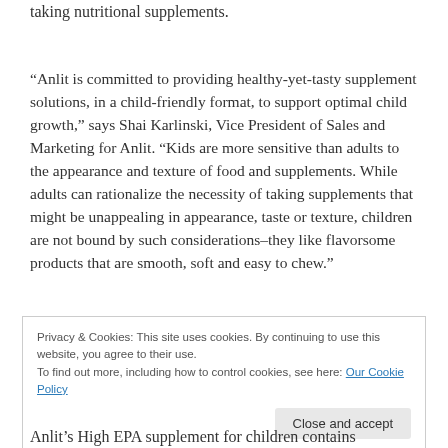taking nutritional supplements.
“Anlit is committed to providing healthy-yet-tasty supplement solutions, in a child-friendly format, to support optimal child growth,” says Shai Karlinski, Vice President of Sales and Marketing for Anlit. “Kids are more sensitive than adults to the appearance and texture of food and supplements. While adults can rationalize the necessity of taking supplements that might be unappealing in appearance, taste or texture, children are not bound by such considerations–they like flavorsome products that are smooth, soft and easy to chew.”
Privacy & Cookies: This site uses cookies. By continuing to use this website, you agree to their use. To find out more, including how to control cookies, see here: Our Cookie Policy
Anlit’s High EPA supplement for children contains